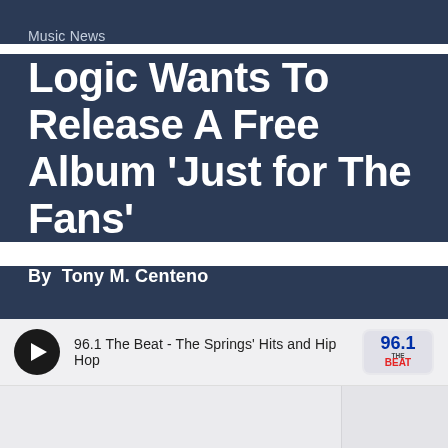Music News
Logic Wants To Release A Free Album 'Just for The Fans'
By  Tony M. Centeno
[Figure (screenshot): Radio player widget showing play button and station text '96.1 The Beat - The Springs' Hits and Hip Hop' with 96.1 The Beat logo on the right]
[Figure (other): Light gray content area placeholder below the player, divided into a main section and a narrower sidebar column]